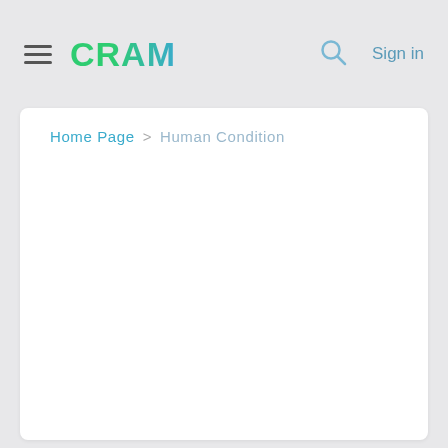CRAM  Sign in
Home Page > Human Condition